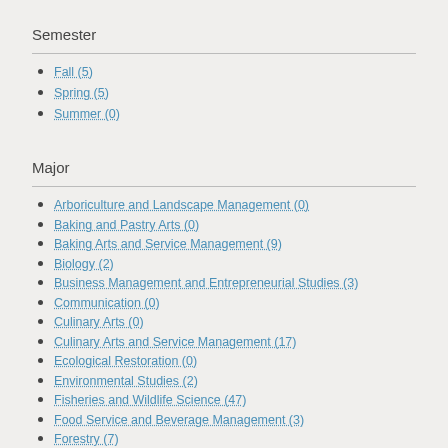Semester
Fall (5)
Spring (5)
Summer (0)
Major
Arboriculture and Landscape Management (0)
Baking and Pastry Arts (0)
Baking Arts and Service Management (9)
Biology (2)
Business Management and Entrepreneurial Studies (3)
Communication (0)
Culinary Arts (0)
Culinary Arts and Service Management (17)
Ecological Restoration (0)
Environmental Studies (2)
Fisheries and Wildlife Science (47)
Food Service and Beverage Management (3)
Forestry (7)
Hotel, Resort and Tourism Management (0)